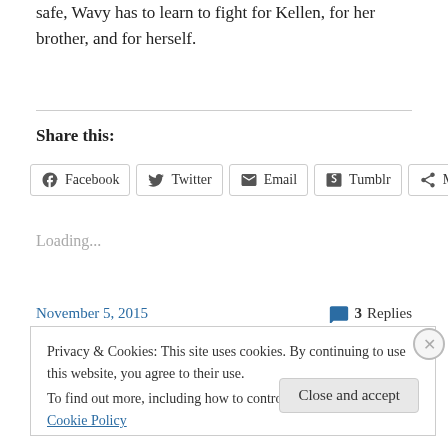safe, Wavy has to learn to fight for Kellen, for her brother, and for herself.
Share this:
Facebook  Twitter  Email  Tumblr  More
Loading...
November 5, 2015    3 Replies
Privacy & Cookies: This site uses cookies. By continuing to use this website, you agree to their use. To find out more, including how to control cookies, see here: Cookie Policy